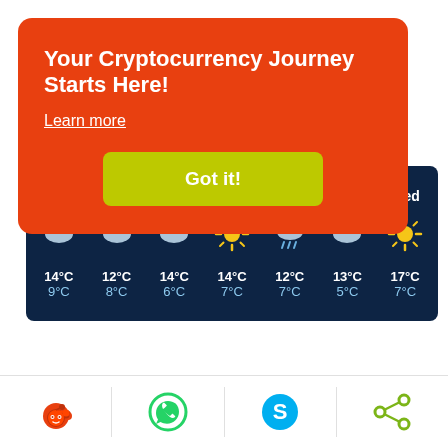Your Cryptocurrency Journey Starts Here!
Learn more
Got it!
| Thu | Fri | Sat | Sun | Mon | Tue | Wed |
| --- | --- | --- | --- | --- | --- | --- |
| ☁ | ☁ | ☁ | ☀ | 🌧 | ☁ | ☀ |
| 14°C
9°C | 12°C
8°C | 14°C
6°C | 14°C
7°C | 12°C
7°C | 13°C
5°C | 17°C
7°C |
[Figure (infographic): Share icons bar with Reddit, WhatsApp, Skype, and share button icons]